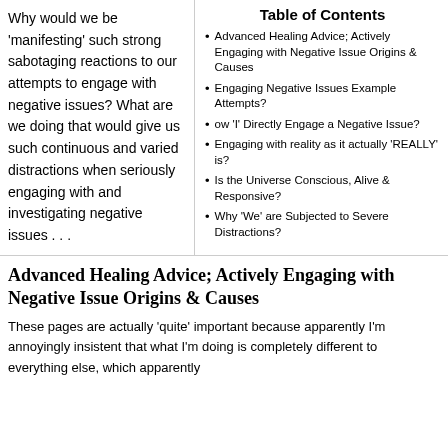Why would we be 'manifesting' such strong sabotaging reactions to our attempts to engage with negative issues? What are we doing that would give us such continuous and varied distractions when seriously engaging with and investigating negative issues . . .
Table of Contents
Advanced Healing Advice; Actively Engaging with Negative Issue Origins & Causes
Engaging Negative Issues Example Attempts?
ow 'I' Directly Engage a Negative Issue?
Engaging with reality as it actually 'REALLY' is?
Is the Universe Conscious, Alive & Responsive?
Why 'We' are Subjected to Severe Distractions?
Advanced Healing Advice; Actively Engaging with Negative Issue Origins & Causes
These pages are actually 'quite' important because apparently I'm annoyingly insistent that what I'm doing is completely different to everything else, which apparently